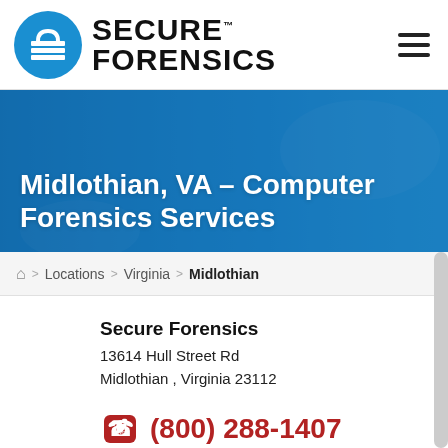[Figure (logo): Secure Forensics logo: blue circle with padlock/lines icon and bold text SECURE FORENSICS]
Midlothian, VA – Computer Forensics Services
🏠 > Locations > Virginia > Midlothian
Secure Forensics
13614 Hull Street Rd
Midlothian , Virginia 23112
(800) 288-1407
Walk-In Hours:
Mon-Fri: 10AM - 7PM